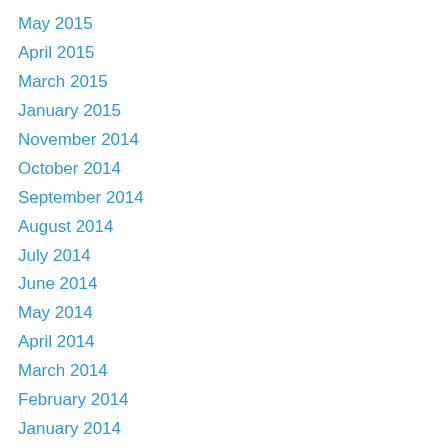May 2015
April 2015
March 2015
January 2015
November 2014
October 2014
September 2014
August 2014
July 2014
June 2014
May 2014
April 2014
March 2014
February 2014
January 2014
December 2013
November 2013
October 2013
September 2013
August 2013